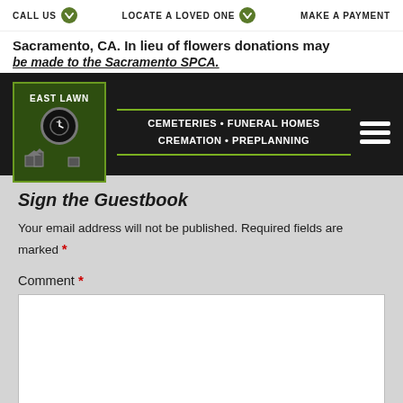CALL US   LOCATE A LOVED ONE   MAKE A PAYMENT
[Figure (logo): East Lawn Cemeteries Funeral Homes Cremation Preplanning logo with navigation bar]
Sacramento, CA. In lieu of flowers donations may be made to the Sacramento SPCA.
Sign the Guestbook
Your email address will not be published. Required fields are marked *
Comment *